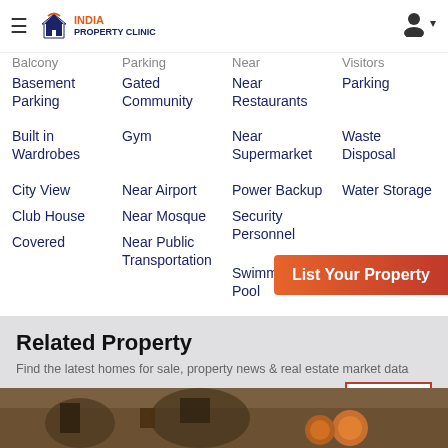India Property Clinic
Balcony
Parking
Near
Visitors
Basement Parking
Gated Community
Near Restaurants
Parking
Built in Wardrobes
Gym
Near Supermarket
Waste Disposal
City View
Near Airport
Power Backup
Water Storage
Club House
Near Mosque
Security Personnel
Covered
Near Public Transportation
Swimming Pool
[Figure (screenshot): List Your Property button overlay]
Related Property
Find the latest homes for sale, property news & real estate market data
View All
[Figure (photo): Construction site with heavy machinery on dirt ground]